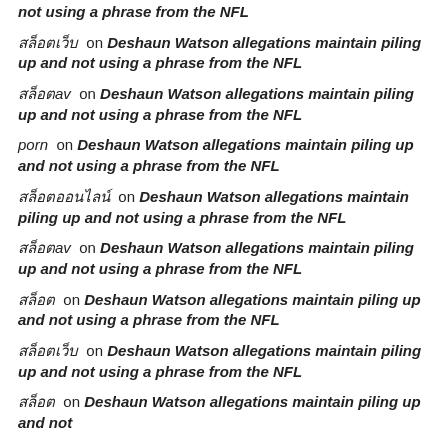not using a phrase from the NFL
สล็อตเว็บ on Deshaun Watson allegations maintain piling up and not using a phrase from the NFL
สล็อตav on Deshaun Watson allegations maintain piling up and not using a phrase from the NFL
porn on Deshaun Watson allegations maintain piling up and not using a phrase from the NFL
สล็อตออนไลน์ on Deshaun Watson allegations maintain piling up and not using a phrase from the NFL
สล็อตav on Deshaun Watson allegations maintain piling up and not using a phrase from the NFL
สล็อต on Deshaun Watson allegations maintain piling up and not using a phrase from the NFL
สล็อตเว็บ on Deshaun Watson allegations maintain piling up and not using a phrase from the NFL
สล็อต on Deshaun Watson allegations maintain piling up and not